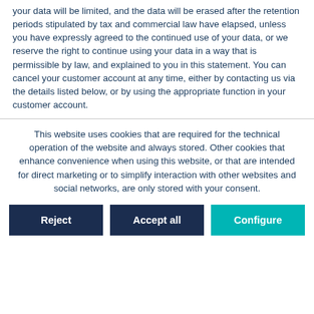your data will be limited, and the data will be erased after the retention periods stipulated by tax and commercial law have elapsed, unless you have expressly agreed to the continued use of your data, or we reserve the right to continue using your data in a way that is permissible by law, and explained to you in this statement. You can cancel your customer account at any time, either by contacting us via the details listed below, or by using the appropriate function in your customer account.
This website uses cookies that are required for the technical operation of the website and always stored. Other cookies that enhance convenience when using this website, or that are intended for direct marketing or to simplify interaction with other websites and social networks, are only stored with your consent.